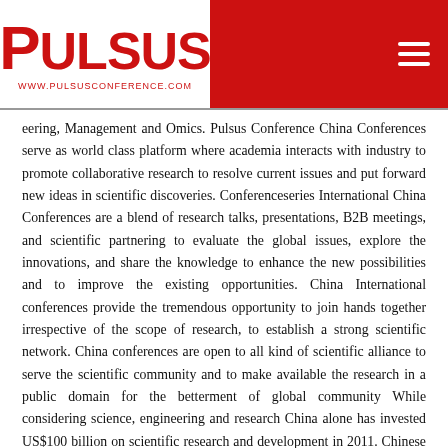PULSUS WWW.PULSUSCONFERENCE.COM
eering, Management and Omics. Pulsus Conference China Conferences serve as world class platform where academia interacts with industry to promote collaborative research to resolve current issues and put forward new ideas in scientific discoveries. Conferenceseries International China Conferences are a blend of research talks, presentations, B2B meetings, and scientific partnering to evaluate the global issues, explore the innovations, and share the knowledge to enhance the new possibilities and to improve the existing opportunities. China International conferences provide the tremendous opportunity to join hands together irrespective of the scope of research, to establish a strong scientific network. China conferences are open to all kind of scientific alliance to serve the scientific community and to make available the research in a public domain for the betterment of global community While considering science, engineering and research China alone has invested US$100 billion on scientific research and development in 2011. Chinese scientists won 4 times